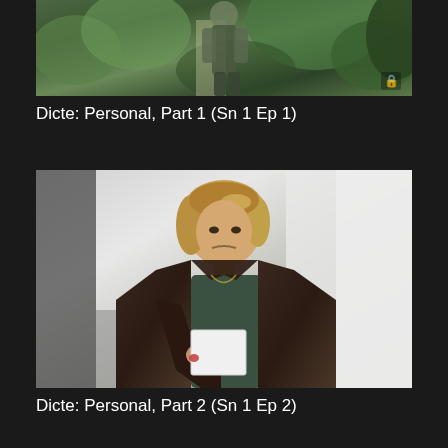[Figure (photo): Outdoor scene showing a person walking among green foliage and plants, with a lock icon in the bottom right corner]
Dicte: Personal, Part 1 (Sn 1 Ep 1)
[Figure (photo): Indoor scene showing a blonde woman in a dark brown leather jacket looking down and holding a white piece of paper or envelope]
Dicte: Personal, Part 2 (Sn 1 Ep 2)